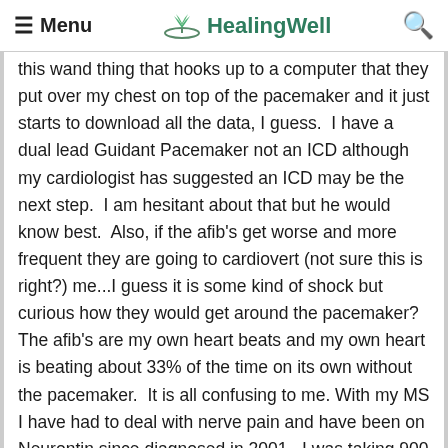≡ Menu   🌿 HealingWell   🔍
this wand thing that hooks up to a computer that they put over my chest on top of the pacemaker and it just starts to download all the data, I guess.  I have a dual lead Guidant Pacemaker not an ICD although my cardiologist has suggested an ICD may be the next step.  I am hesitant about that but he would know best.  Also, if the afib's get worse and more frequent they are going to cardiovert (not sure this is right?) me...I guess it is some kind of shock but curious how they would get around the pacemaker?  The afib's are my own heart beats and my own heart is beating about 33% of the time on its own without the pacemaker.  It is all confusing to me. With my MS I have had to deal with nerve pain and have been on Neurontin since diagnosed in 2001.  I was taking 900 mg a day and still had pain.  My neurologist switched me to a new drug that is out called Lyrica that is supposed to be a super improved type of Neurontin.  In the 4 months I have been on it at 300 mg a day my nerve pain is gone.